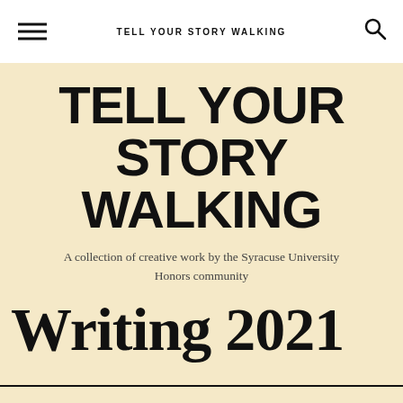TELL YOUR STORY WALKING
TELL YOUR STORY WALKING
A collection of creative work by the Syracuse University Honors community
Writing 2021